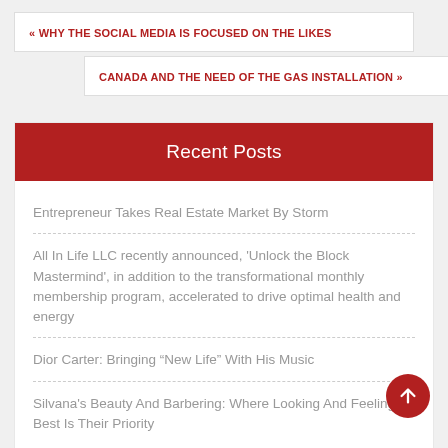« WHY THE SOCIAL MEDIA IS FOCUSED ON THE LIKES
CANADA AND THE NEED OF THE GAS INSTALLATION »
Recent Posts
Entrepreneur Takes Real Estate Market By Storm
All In Life LLC recently announced, 'Unlock the Block Mastermind', in addition to the transformational monthly membership program, accelerated to drive optimal health and energy
Dior Carter: Bringing “New Life” With His Music
Silvana's Beauty And Barbering: Where Looking And Feeling Best Is Their Priority